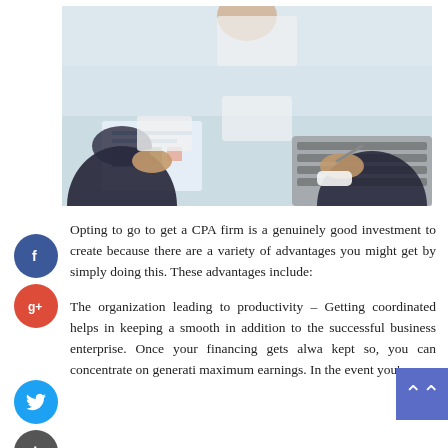[Figure (photo): Business meeting photo showing people in suits around a table with documents, charts, and a laptop keyboard visible. Hands holding pens and papers.]
Opting to go to get a CPA firm is a genuinely good investment to create because there are a variety of advantages you might get by simply doing this. These advantages include:
The organization leading to productivity – Getting coordinated helps in keeping a smooth in addition to the successful business enterprise. Once your financing gets alwa kept so, you can concentrate on generati maximum earnings. In the event you're